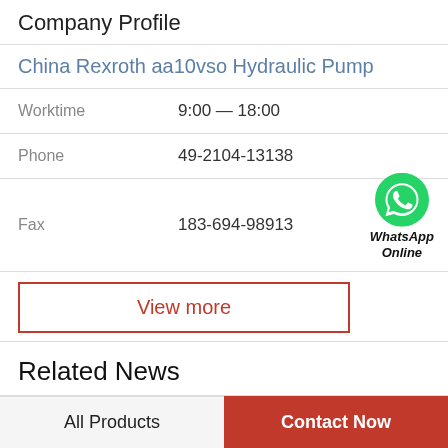Company Profile
China Rexroth aa10vso Hydraulic Pump
| Field | Value |
| --- | --- |
| Worktime | 9:00 — 18:00 |
| Phone | 49-2104-13138 |
| Fax | 183-694-98913 |
[Figure (logo): WhatsApp green phone icon with text 'WhatsApp Online']
View more
Related News
How often should you change hydrauli...
All Products
Contact Now